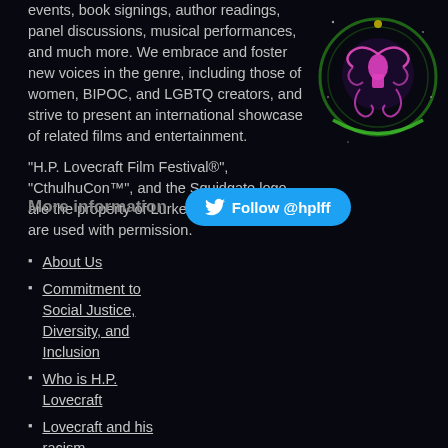events, book signings, author readings, panel discussions, musical performances, and much more. We embrace and foster new voices in the genre, including those of women, BIPOC, and LGBTQ creators, and strive to present an international showcase of related films and entertainment.
"H.P. Lovecraft Film Festival®", "CthulhuCon™", and the Squidgate logo are the property of Lurker Films, Inc. and are used with permission.
[Figure (logo): Squidgate logo — a neon-lit circular emblem with tentacle/squid designs in pink, purple, and green on a dark background]
More information
About Us
Commitment to Social Justice, Diversity, and Inclusion
Who is H.P. Lovecraft
Lovecraft and his racism
Official Merchandise